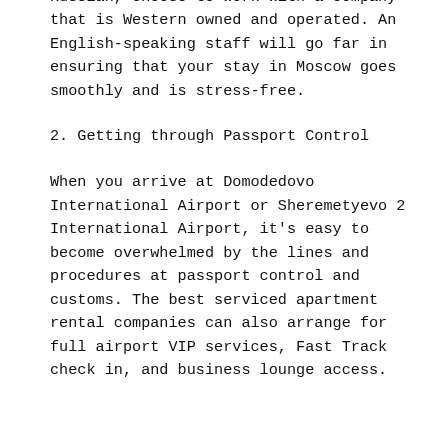Furthermore, unless you're fluent in Russian, choose to work with a company that is Western owned and operated. An English-speaking staff will go far in ensuring that your stay in Moscow goes smoothly and is stress-free.
2. Getting through Passport Control
When you arrive at Domodedovo International Airport or Sheremetyevo 2 International Airport, it's easy to become overwhelmed by the lines and procedures at passport control and customs. The best serviced apartment rental companies can also arrange for full airport VIP services, Fast Track check in, and business lounge access.